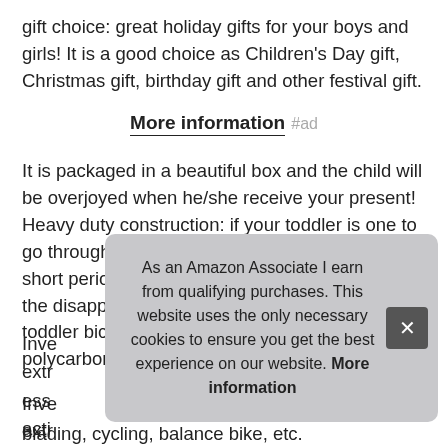gift choice: great holiday gifts for your boys and girls! It is a good choice as Children's Day gift, Christmas gift, birthday gift and other festival gift.
More information #ad
It is packaged in a beautiful box and the child will be overjoyed when he/she receive your present! Heavy duty construction: if your toddler is one to go through a number of child bike helmets in a short period of time, then you are in luck! Avoid the disappointments associated with other toddler bicycle helmets that are made of cheap polycarbonate shell.
Inve... extr... ess... acti... bike...
blading, cycling, balance bike, etc.
As an Amazon Associate I earn from qualifying purchases. This website uses the only necessary cookies to ensure you get the best experience on our website. More information